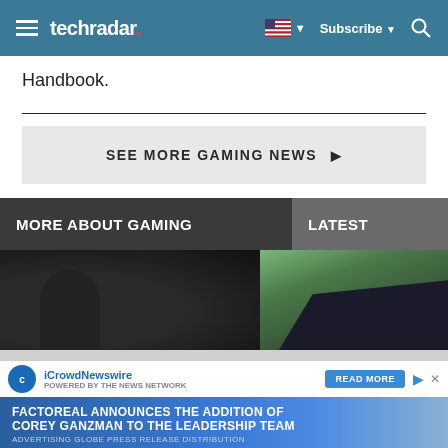techradar | Subscribe | Search
Handbook.
SEE MORE GAMING NEWS ▶
MORE ABOUT GAMING
LATEST
[Figure (photo): Preview image of gaming article - dark silhouette figure]
[Figure (photo): Preview image of latest article - office/meeting room with people silhouetted against screens]
[Figure (screenshot): iCrowdNewswire advertisement banner: FACTOREAL ANNOUNCES THE ADDITION OF COREY GANZMAN TO THE LEADERSHIP TEAM]